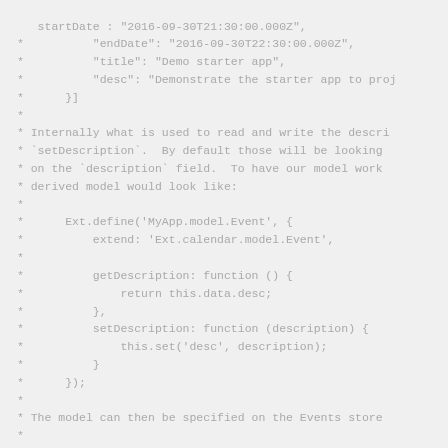Code block showing JavaScript/ExtJS calendar model event configuration and description getter/setter pattern. Lines include JSON event data with startDate, endDate, title, desc fields, followed by comment text about getDescription and setDescription, then Ext.define code for MyApp.model.Event extending Ext.calendar.model.Event with getDescription and setDescription functions, and ending with a note about specifying model on Events store and Ext.create call.